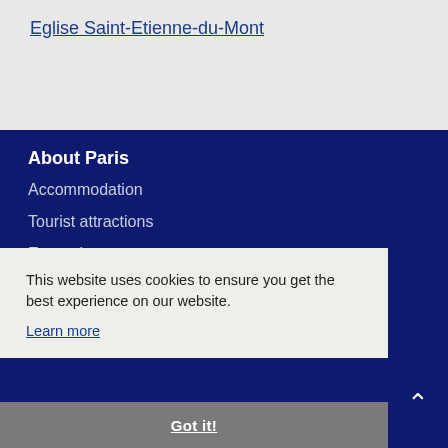Eglise Saint-Etienne-du-Mont
About Paris
Accommodation
Tourist attractions
Entertainment
Restaurants
This website uses cookies to ensure you get the best experience on our website.
Learn more
Got it!
Travel guides